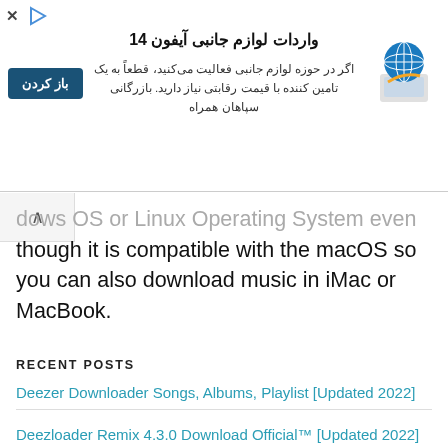[Figure (infographic): Advertisement banner for 'واردات لوازم جانبی آیفون 14' (iPhone 14 accessories imports) with a blue button labeled 'باز کردن' (Open), Persian text body, and a logo icon of a globe with a laptop.]
dows OS or Linux Operating System even though it is compatible with the macOS so you can also download music in iMac or MacBook.
RECENT POSTS
Deezer Downloader Songs, Albums, Playlist [Updated 2022]
Deezloader Remix 4.3.0 Download Official™ [Updated 2022]